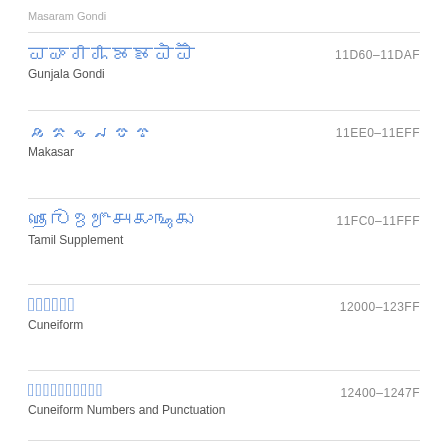Masaram Gondi
□□□□□□□□  Gunjala Gondi  11D60–11DAF
□□□□□□  Makasar  11EE0–11EFF
□□□□□□□□  Tamil Supplement  11FC0–11FFF
□□□□□□  Cuneiform  12000–123FF
□□□□□□□□□□  Cuneiform Numbers and Punctuation  12400–1247F